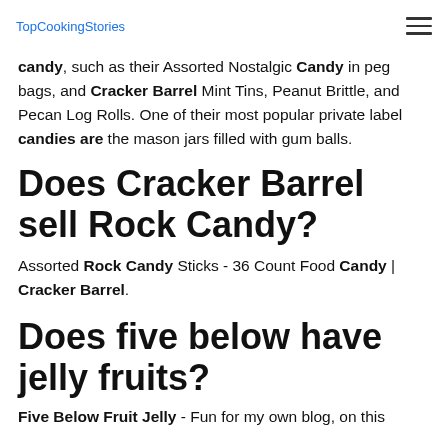TopCookingStories
candy, such as their Assorted Nostalgic Candy in peg bags, and Cracker Barrel Mint Tins, Peanut Brittle, and Pecan Log Rolls. One of their most popular private label candies are the mason jars filled with gum balls.
Does Cracker Barrel sell Rock Candy?
Assorted Rock Candy Sticks - 36 Count Food Candy | Cracker Barrel.
Does five below have jelly fruits?
Five Below Fruit Jelly - Fun for my own blog, on this